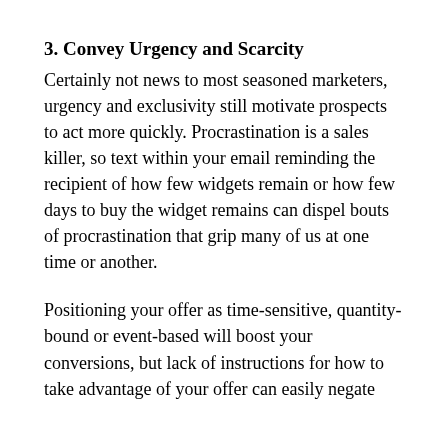3. Convey Urgency and Scarcity
Certainly not news to most seasoned marketers, urgency and exclusivity still motivate prospects to act more quickly. Procrastination is a sales killer, so text within your email reminding the recipient of how few widgets remain or how few days to buy the widget remains can dispel bouts of procrastination that grip many of us at one time or another.
Positioning your offer as time-sensitive, quantity-bound or event-based will boost your conversions, but lack of instructions for how to take advantage of your offer can easily negate the benefits, i.e. ...